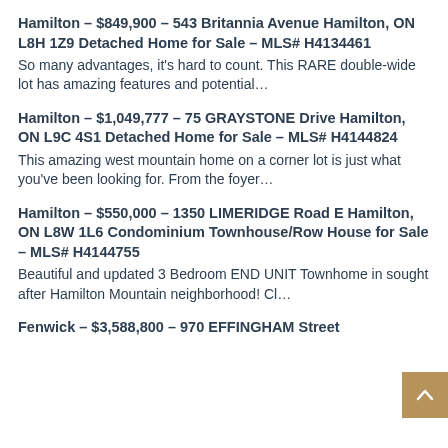Hamilton - $849,900 - 543 Britannia Avenue Hamilton, ON L8H 1Z9 Detached Home for Sale - MLS# H4134461
So many advantages, it's hard to count. This RARE double-wide lot has amazing features and potential…
Hamilton - $1,049,777 - 75 GRAYSTONE Drive Hamilton, ON L9C 4S1 Detached Home for Sale - MLS# H4144824
This amazing west mountain home on a corner lot is just what you've been looking for. From the foyer…
Hamilton - $550,000 - 1350 LIMERIDGE Road E Hamilton, ON L8W 1L6 Condominium Townhouse/Row House for Sale - MLS# H4144755
Beautiful and updated 3 Bedroom END UNIT Townhome in sought after Hamilton Mountain neighborhood! Cl…
Fenwick - $3,588,800 - 970 EFFINGHAM Street